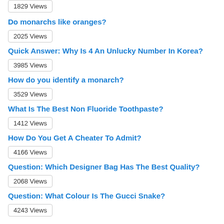1829 Views
Do monarchs like oranges?
2025 Views
Quick Answer: Why Is 4 An Unlucky Number In Korea?
3985 Views
How do you identify a monarch?
3529 Views
What Is The Best Non Fluoride Toothpaste?
1412 Views
How Do You Get A Cheater To Admit?
4166 Views
Question: Which Designer Bag Has The Best Quality?
2068 Views
Question: What Colour Is The Gucci Snake?
4243 Views